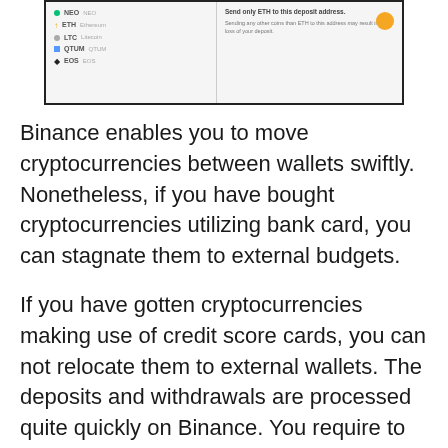[Figure (screenshot): Screenshot of Binance cryptocurrency wallet interface showing a list of cryptocurrencies (NEO, ETH/Ethereum, LTC/Litecoin, QTUM, EOS) on the left panel and a deposit address section with an orange circle icon on the right panel.]
Binance enables you to move cryptocurrencies between wallets swiftly. Nonetheless, if you have bought cryptocurrencies utilizing bank card, you can stagnate them to external budgets.
If you have gotten cryptocurrencies making use of credit score cards, you can not relocate them to external wallets. The deposits and withdrawals are processed quite quickly on Binance. You require to pick down payments.
You have to kind the cryptocurrency which you want to obtain. Once you do so, you can get